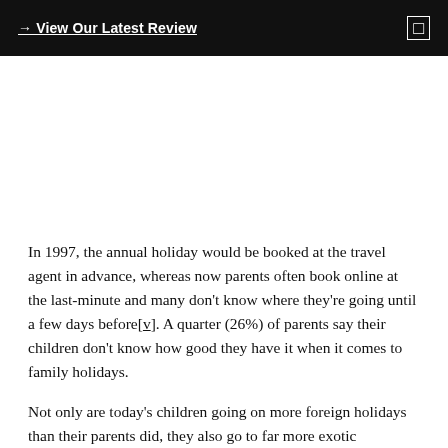→ View Our Latest Review
In 1997, the annual holiday would be booked at the travel agent in advance, whereas now parents often book online at the last-minute and many don't know where they're going until a few days before[v]. A quarter (26%) of parents say their children don't know how good they have it when it comes to family holidays.
Not only are today's children going on more foreign holidays than their parents did, they also go to far more exotic